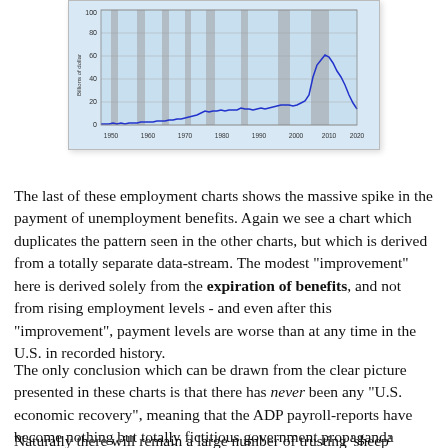[Figure (continuous-plot): Line chart showing unemployment benefits payment over time from approximately 1950 to 2020, with shaded areas indicating US recessions. Shows a massive spike around 2010. Y-axis in billions of dollars. Source: 2011 research.stlouisfed.org]
The last of these employment charts shows the massive spike in the payment of unemployment benefits. Again we see a chart which duplicates the pattern seen in the other charts, but which is derived from a totally separate data-stream. The modest "improvement" here is derived solely from the expiration of benefits, and not from rising employment levels - and even after this "improvement", payment levels are worse than at any time in the U.S. in recorded history.
The only conclusion which can be drawn from the clear picture presented in these charts is that there has never been any "U.S. economic recovery", meaning that the ADP payroll-reports have become nothing but totally fictitious government propaganda (much like the BLS B.S.).
Naturally there will remain a large number of trusting 'sheep'